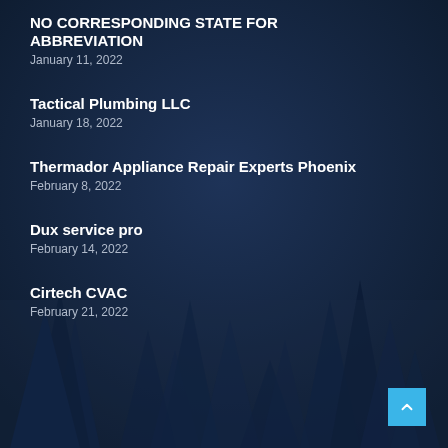NO CORRESPONDING STATE FOR ABBREVIATION
January 11, 2022
Tactical Plumbing LLC
January 18, 2022
Thermador Appliance Repair Experts Phoenix
February 8, 2022
Dux service pro
February 14, 2022
Cirtech CVAC
February 21, 2022